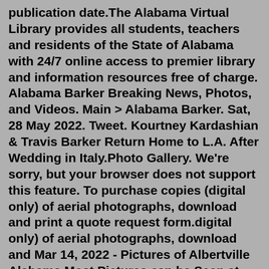publication date.The Alabama Virtual Library provides all students, teachers and residents of the State of Alabama with 24/7 online access to premier library and information resources free of charge. Alabama Barker Breaking News, Photos, and Videos. Main > Alabama Barker. Sat, 28 May 2022. Tweet. Kourtney Kardashian & Travis Barker Return Home to L.A. After Wedding in Italy.Photo Gallery. We're sorry, but your browser does not support this feature. To purchase copies (digital only) of aerial photographs, download and print a quote request form.digital only) of aerial photographs, download and Mar 14, 2022 - Pictures of Albertville Alabama Most Pictures can be Seen at The Albertville Museum. See more ideas about albertville alabama, alabama, picture.Sep 16, 2020 · Database Version: September 16, 2020. "We tell the story of the people of Alabama by preserving records and artifacts of. historical value and promoting a better understanding of Alabama history." Contact Us | Site Index | Alabama.gov P.O. Box 300100 / 624